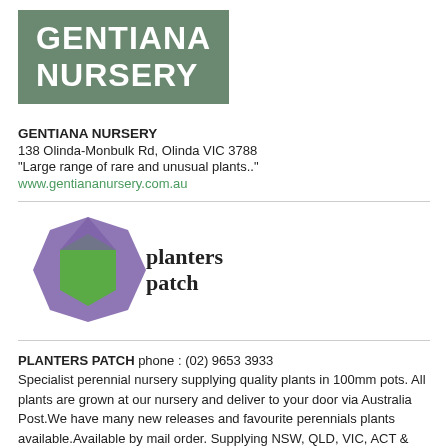[Figure (logo): Gentiana Nursery logo: dark green rectangle with white bold text reading GENTIANA NURSERY]
GENTIANA NURSERY
138 Olinda-Monbulk Rd, Olinda VIC 3788
"Large range of rare and unusual plants.."
www.gentiananursery.com.au
[Figure (logo): Planters Patch logo: purple and green diamond/hexagon shape with the text 'planters patch' in serif font]
PLANTERS PATCH phone : (02) 9653 3933
Specialist perennial nursery supplying quality plants in 100mm pots. All plants are grown at our nursery and deliver to your door via Australia Post.We have many new releases and favourite perennials plants available.Available by mail order. Supplying NSW, QLD, VIC, ACT & SA.
www.planterspatch.com.au